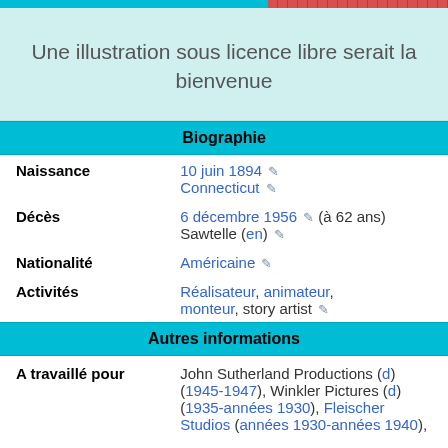[Figure (illustration): Placeholder image area with teal background and text indicating a free-license illustration would be welcome]
| Field | Value |
| --- | --- |
| Biographie |  |
| Naissance | 10 juin 1894 / Connecticut |
| Décès | 6 décembre 1956 (à 62 ans) / Sawtelle (en) |
| Nationalité | Américaine |
| Activités | Réalisateur, animateur, monteur, story artist |
| Autres informations |  |
| A travaillé pour | John Sutherland Productions (d) (1945-1947), Winkler Pictures (d) (1935-années 1930), Fleischer Studios (années 1930-années 1940), |